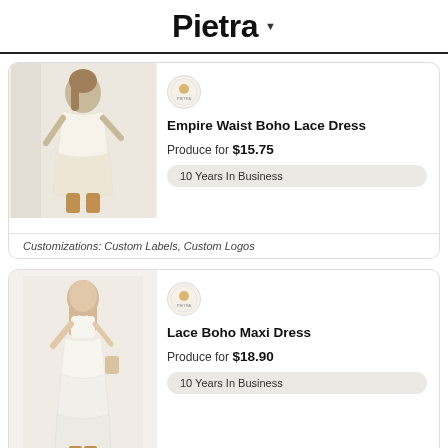Pietra
[Figure (photo): Woman in white boho lace dress with cowboy boots, twirling outdoors]
Empire Waist Boho Lace Dress
Produce for $15.75
10 Years In Business
Customizations: Custom Labels, Custom Logos
[Figure (photo): Woman in white lace boho maxi dress with sunglasses, standing outdoors]
Lace Boho Maxi Dress
Produce for $18.90
10 Years In Business